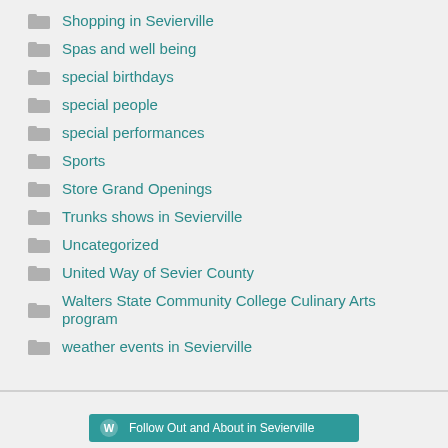Shopping in Sevierville
Spas and well being
special birthdays
special people
special performances
Sports
Store Grand Openings
Trunks shows in Sevierville
Uncategorized
United Way of Sevier County
Walters State Community College Culinary Arts program
weather events in Sevierville
Follow Out and About in Sevierville